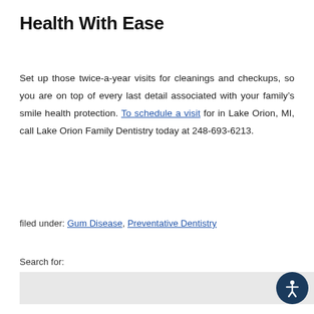Health With Ease
Set up those twice-a-year visits for cleanings and checkups, so you are on top of every last detail associated with your family’s smile health protection. To schedule a visit for in Lake Orion, MI, call Lake Orion Family Dentistry today at 248-693-6213.
filed under: Gum Disease, Preventative Dentistry
Search for: